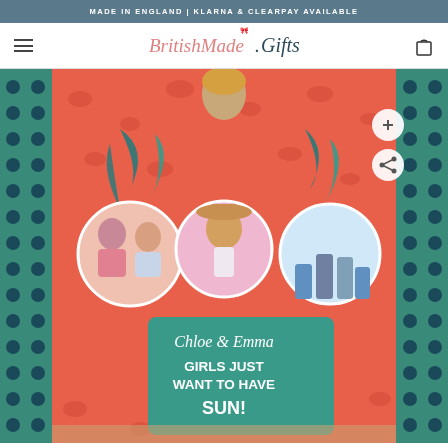MADE IN ENGLAND | KLARNA & CLEARPAY AVAILABLE
BritishMade.Gifts
[Figure (photo): A colorful custom photo blanket with tropical flamingo/leopard print pattern featuring circular photo cutouts of groups of young women, teal tropical leaves, and a teal text panel reading 'Chloe & Emma GIRLS JUST WANT TO HAVE SUN!' with polka dot border. The blanket is held up by a person.]